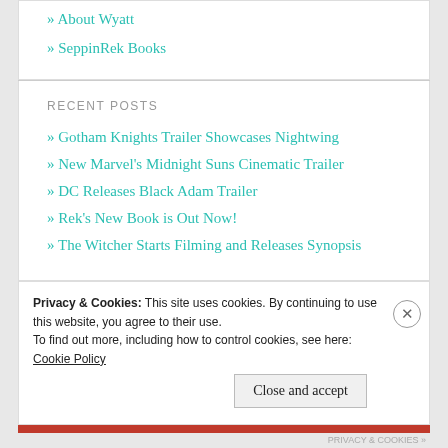About Wyatt
SeppinRek Books
RECENT POSTS
Gotham Knights Trailer Showcases Nightwing
New Marvel's Midnight Suns Cinematic Trailer
DC Releases Black Adam Trailer
Rek's New Book is Out Now!
The Witcher Starts Filming and Releases Synopsis
Privacy & Cookies: This site uses cookies. By continuing to use this website, you agree to their use.
To find out more, including how to control cookies, see here: Cookie Policy
Close and accept